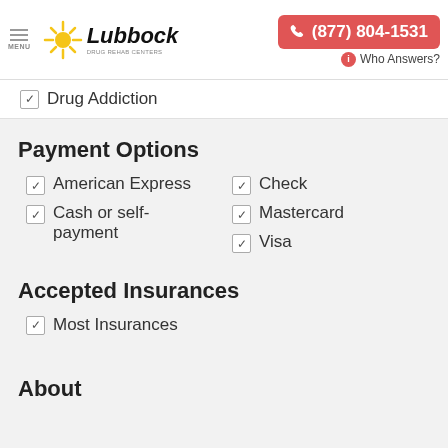MENU | Lubbock Drug Rehab Centers | (877) 804-1531 | Who Answers?
Drug Addiction
Payment Options
American Express
Cash or self-payment
Check
Mastercard
Visa
Accepted Insurances
Most Insurances
About